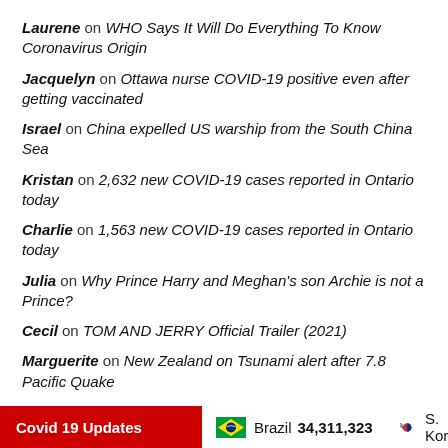Laurene on WHO Says It Will Do Everything To Know Coronavirus Origin
Jacquelyn on Ottawa nurse COVID-19 positive even after getting vaccinated
Israel on China expelled US warship from the South China Sea
Kristan on 2,632 new COVID-19 cases reported in Ontario today
Charlie on 1,563 new COVID-19 cases reported in Ontario today
Julia on Why Prince Harry and Meghan's son Archie is not a Prince?
Cecil on TOM AND JERRY Official Trailer (2021)
Marguerite on New Zealand on Tsunami alert after 7.8 Pacific Quake
Estela on IED blast near Israeli Embassy in Delhi
Covid 19 Updates   Brazil 34,311,323   S. Korea